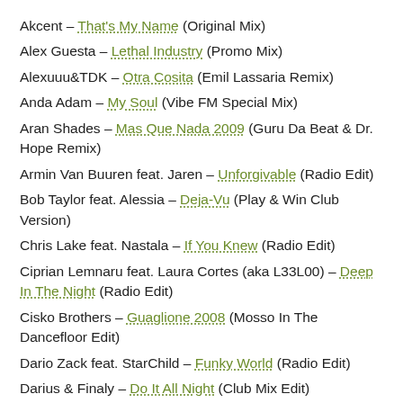Akcent – That's My Name (Original Mix)
Alex Guesta – Lethal Industry (Promo Mix)
Alexuuu&TDK – Otra Cosita (Emil Lassaria Remix)
Anda Adam – My Soul (Vibe FM Special Mix)
Aran Shades – Mas Que Nada 2009 (Guru Da Beat & Dr. Hope Remix)
Armin Van Buuren feat. Jaren – Unforgivable (Radio Edit)
Bob Taylor feat. Alessia – Deja-Vu (Play & Win Club Version)
Chris Lake feat. Nastala – If You Knew (Radio Edit)
Ciprian Lemnaru feat. Laura Cortes (aka L33L00) – Deep In The Night (Radio Edit)
Cisko Brothers – Guaglione 2008 (Mosso In The Dancefloor Edit)
Dario Zack feat. StarChild – Funky World (Radio Edit)
Darius & Finaly – Do It All Night (Club Mix Edit)
Di Alex Under Boss feat. Friscos – Privacy (The Kid &...